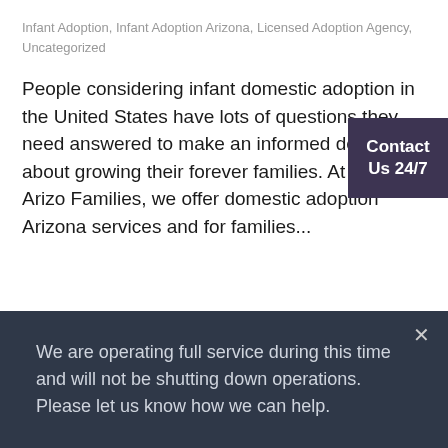Infant Adoption, Infant Adoption Arizona, Licensed Adoption Agency, Uncategorized
People considering infant domestic adoption in the United States have lots of questions they need answered to make an informed decision about growing their forever families. At Building Arizona Families, we offer domestic adoption Arizona services and for families...
Contact Us 24/7
We are operating full service during this time and will not be shutting down operations. Please let us know how we can help.